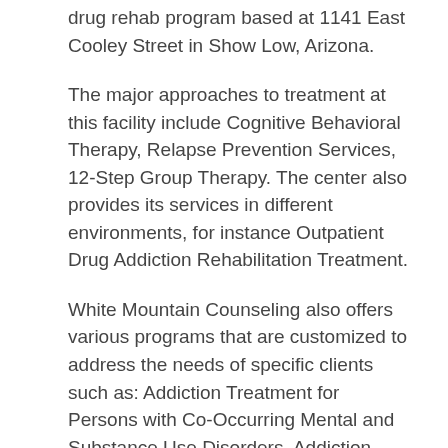drug rehab program based at 1141 East Cooley Street in Show Low, Arizona.
The major approaches to treatment at this facility include Cognitive Behavioral Therapy, Relapse Prevention Services, 12-Step Group Therapy. The center also provides its services in different environments, for instance Outpatient Drug Addiction Rehabilitation Treatment.
White Mountain Counseling also offers various programs that are customized to address the needs of specific clients such as: Addiction Treatment for Persons with Co-Occurring Mental and Substance Use Disorders, Addiction Treatment for Lesbian,